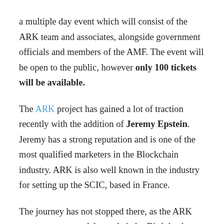a multiple day event which will consist of the ARK team and associates, alongside government officials and members of the AMF. The event will be open to the public, however only 100 tickets will be available.
The ARK project has gained a lot of traction recently with the addition of Jeremy Epstein. Jeremy has a strong reputation and is one of the most qualified marketers in the Blockchain industry. ARK is also well known in the industry for setting up the SCIC, based in France.
The journey has not stopped there, as the ARK team prepare to celebrate their 1st Birthday by organising ARK Con, an event that will bring numerous enthusiasts ranging from economists and industry influencers to promising students from the University of Geneva together. Curious individuals can gain